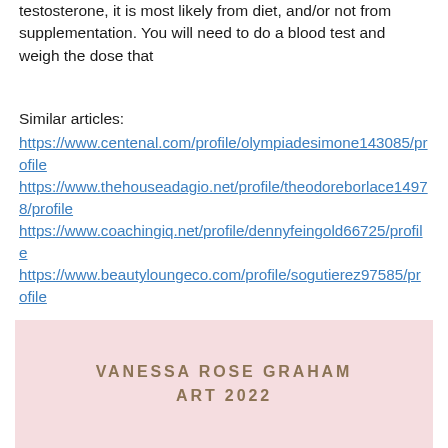testosterone, it is most likely from diet, and/or not from supplementation. You will need to do a blood test and weigh the dose that
Similar articles:
https://www.centenal.com/profile/olympiadesimone143085/profile
https://www.thehouseadagio.net/profile/theodoreborlace14978/profile
https://www.coachingiq.net/profile/dennyfeingold66725/profile
https://www.beautyloungeco.com/profile/sogutierez97585/profile
VANESSA ROSE GRAHAM ART 2022